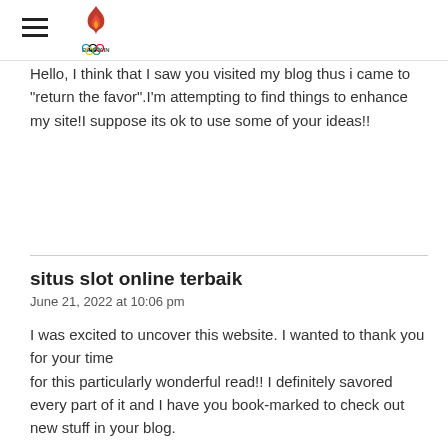[hamburger menu icon] [Bahrain Olympic Committee logo]
Hello, I think that I saw you visited my blog thus i came to “return the favor”.I’m attempting to find things to enhance my site!I suppose its ok to use some of your ideas!!
situs slot online terbaik
June 21, 2022 at 10:06 pm
I was excited to uncover this website. I wanted to thank you for your time for this particularly wonderful read!! I definitely savored every part of it and I have you book-marked to check out new stuff in your blog.